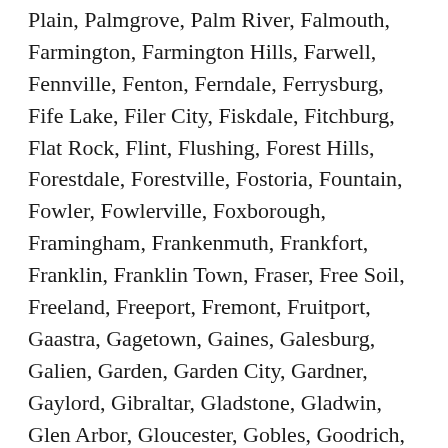Plain, Palmgrove, Palm River, Falmouth, Farmington, Farmington Hills, Farwell, Fennville, Fenton, Ferndale, Ferrysburg, Fife Lake, Filer City, Fiskdale, Fitchburg, Flat Rock, Flint, Flushing, Forest Hills, Forestdale, Forestville, Fostoria, Fountain, Fowler, Fowlerville, Foxborough, Framingham, Frankenmuth, Frankfort, Franklin, Franklin Town, Fraser, Free Soil, Freeland, Freeport, Fremont, Fruitport, Gaastra, Gagetown, Gaines, Galesburg, Galien, Garden, Garden City, Gardner, Gaylord, Gibraltar, Gladstone, Gladwin, Glen Arbor, Gloucester, Gobles, Goodrich, Granby, Grand Beach, Grand Blanc, Grand Haven, Grand Ledge, Grand Rapids, Grandville, Grant, Grass Lake, Grawn, Grayling, Great Barrington, Green Harbor-Cedar Crest, Greenfield Town, Greenville, Greilickville, Grosse Pointe, Grosse Pointe Farms, Grosse Pointe Park, Grosse Pointe Woods, Groton, Gwinn, Hamtramck, Hancock, Hanover, Hanscom AFB, Hanson, Harbor Beach, Harbor Springs,